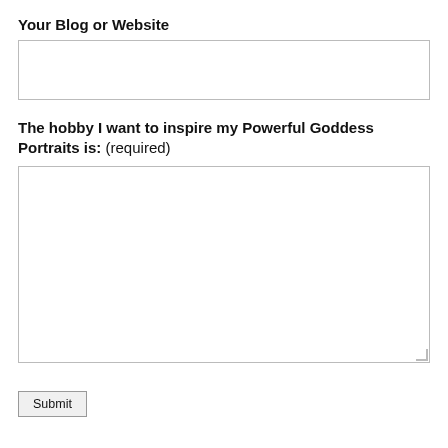Your Blog or Website
[Figure (other): Empty text input box for blog or website URL]
The hobby I want to inspire my Powerful Goddess Portraits is: (required)
[Figure (other): Large empty textarea for hobby input]
Submit